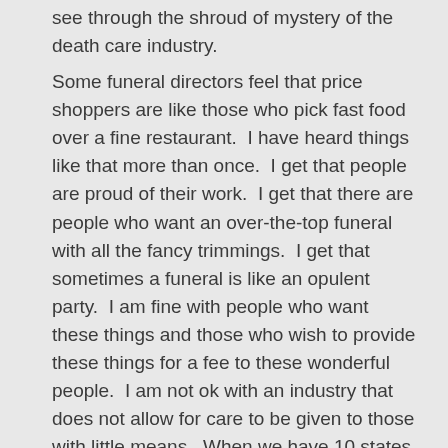see through the shroud of mystery of the death care industry.
Some funeral directors feel that price shoppers are like those who pick fast food over a fine restaurant.  I have heard things like that more than once.  I get that people are proud of their work.  I get that there are people who want an over-the-top funeral with all the fancy trimmings.  I get that sometimes a funeral is like an opulent party.  I am fine with people who want these things and those who wish to provide these things for a fee to these wonderful people.  I am not ok with an industry that does not allow for care to be given to those with little means.  When we have 10 states in the union that requires its citizenry to hire a funeral director at some point in the end of life memorial process, I have to wonder.  I wonder if the industry is running scared and that it knows its days are numbered.  They put pressure on a state's legislation body and the funeral directors end up with compulsory customers.  Every citizen becomes a customer because we all die some day. For those funeral directors that work in states with compulsory laws for the